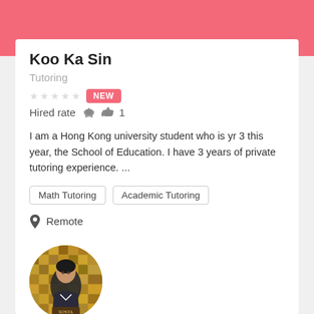Koo Ka Sin
Tutoring
★★★★★ NEW
Hired rate 👍 1
I am a Hong Kong university student who is yr 3 this year, the School of Education. I have 3 years of private tutoring experience. ...
Math Tutoring
Academic Tutoring
Remote
[Figure (photo): Round profile photo of a young woman in front of a patterned wooden wall background]